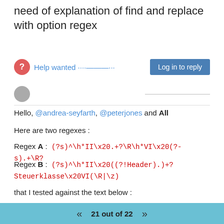need of explanation of find and replace with option regex
Help wanted ····———···
Log in to reply
Hello, @andrea-seyfarth, @peterjones and All
Here are two regexes :
Regex A :  (?s)^\h*II\x20.+?\R\h*VI\x20(?-s).+\R?
Regex B :  (?s)^\h*II\x20((?!Header).)+?Steuerklasse\x20VI(\R|\z)
that I tested against the text below :
111,11I  Header
    I        000.00
    II       222,22
    III      333.33
    IV       444.44
21 out of 22